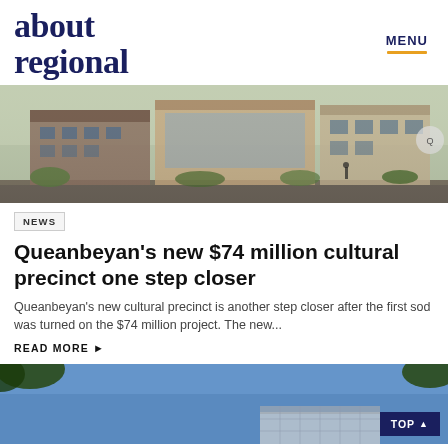about regional — MENU
[Figure (photo): Architectural rendering of Queanbeyan's new cultural precinct building, showing modern brick and glass structure with landscaping and pedestrians]
NEWS
Queanbeyan's new $74 million cultural precinct one step closer
Queanbeyan's new cultural precinct is another step closer after the first sod was turned on the $74 million project. The new...
READ MORE ▸
[Figure (photo): Exterior photo of a building against a blue sky with trees visible at the top edge]